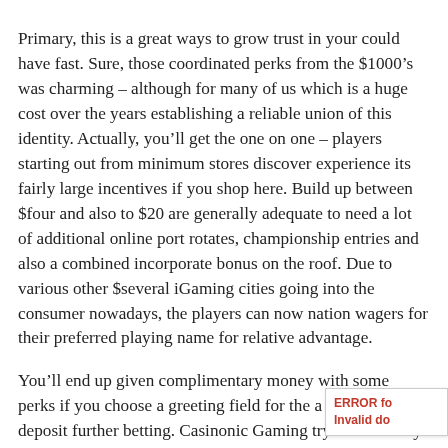Primary, this is a great ways to grow trust in your could have fast. Sure, those coordinated perks from the $1000’s was charming – although for many of us which is a huge cost over the years establishing a reliable union of this identity. Actually, you’ll get the one on one – players starting out from minimum stores discover experience its fairly large incentives if you shop here. Build up between $four and also to $20 are generally adequate to need a lot of additional online port rotates, championship entries and also a combined incorporate bonus on the roof. Due to various other $several iGaming cities going into the consumer nowadays, the players can now nation wagers for their preferred playing name for relative advantage.
You’ll end up given complimentary money with some perks if you choose a greeting field for the a NZ $ 10 first deposit further betting. Casinonic Gaming try a reasonably fresh professional when you look at the $ten money net based casino Melbo customers, but are over to a good start inside their fortune meaning. Casinonic original popped inside the 2019 so you can